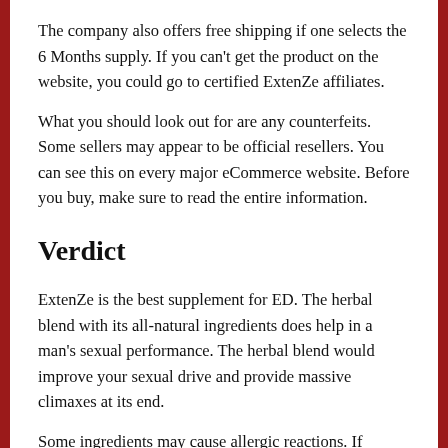The company also offers free shipping if one selects the 6 Months supply. If you can't get the product on the website, you could go to certified ExtenZe affiliates.
What you should look out for are any counterfeits. Some sellers may appear to be official resellers. You can see this on every major eCommerce website. Before you buy, make sure to read the entire information.
Verdict
ExtenZe is the best supplement for ED. The herbal blend with its all-natural ingredients does help in a man's sexual performance. The herbal blend would improve your sexual drive and provide massive climaxes at its end.
Some ingredients may cause allergic reactions. If possible, there are alternatives in the market that provide a safer option.